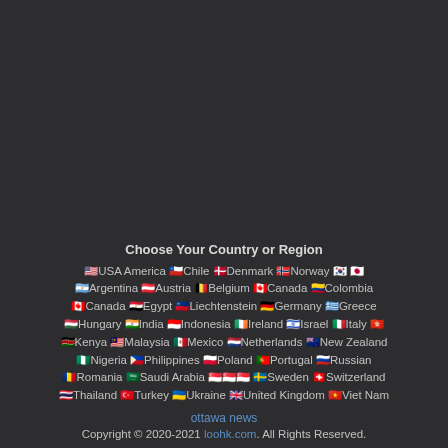Choose Your Country or Region
🇺🇸USA America 🇨🇱Chile 🇩🇰Denmark 🇳🇴Norway 🇰🇷 🇯🇵 🇦🇷Argentina 🇦🇹Austria 🇧🇪Belgium 🇨🇦Canada 🇨🇴Colombia 🇨🇦Canada 🇪🇬Egypt 🇱🇮Liechtenstein 🇩🇪Germany 🇬🇷Greece 🇭🇺Hungary 🇮🇳India 🇮🇩Indonesia 🇮🇪Ireland 🇮🇱Israel 🇮🇹Italy 🇭🇰 🇰🇪Kenya 🇲🇾Malaysia 🇲🇽Mexico 🇳🇱Netherlands 🇳🇿New Zealand 🇳🇬Nigeria 🇵🇭Philippines 🇵🇱Poland 🇵🇹Portugal 🇷🇺Russian 🇷🇴Romania 🇸🇦Saudi Arabia 🇸🇬🇸🇬🇸🇬 🇸🇪Sweden 🇨🇭Switzerland 🇹🇭Thailand 🇹🇷Turkey 🇺🇦Ukraine 🇬🇧United Kingdom 🇻🇳Viet Nam
ottawa news
Copyright © 2020-2021 loohk.com. All Rights Reserved.